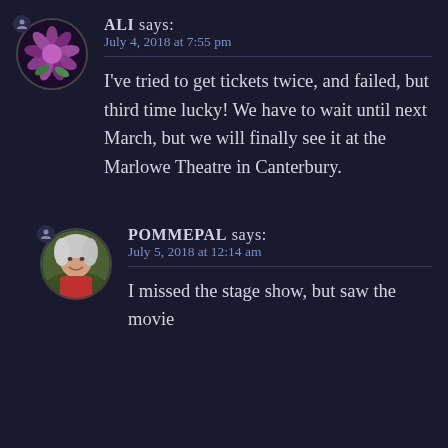ALI says: July 4, 2018 at 7:55 pm
I've tried to get tickets twice, and failed, but third time lucky! We have to wait until next March, but we will finally see it at the Marlowe Theatre in Canterbury.
POMMEPAL says: July 5, 2018 at 12:14 am
I missed the stage show, but saw the movie